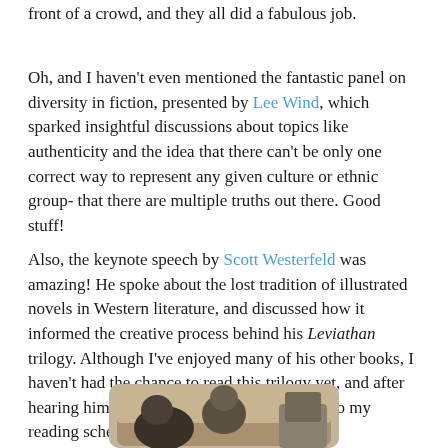front of a crowd, and they all did a fabulous job.
Oh, and I haven't even mentioned the fantastic panel on diversity in fiction, presented by Lee Wind, which sparked insightful discussions about topics like authenticity and the idea that there can't be only one correct way to represent any given culture or ethnic group- that there are multiple truths out there. Good stuff!
Also, the keynote speech by Scott Westerfeld was amazing! He spoke about the lost tradition of illustrated novels in Western literature, and discussed how it informed the creative process behind his Leviathan trilogy. Although I've enjoyed many of his other books, I haven't had the chance to read this trilogy yet, and after hearing him speak, I'm determined to fit it into my reading schedule-- it sounds incredible!
[Figure (photo): A photograph showing people, partially cropped at the bottom of the page, with warm tan/brown tones.]